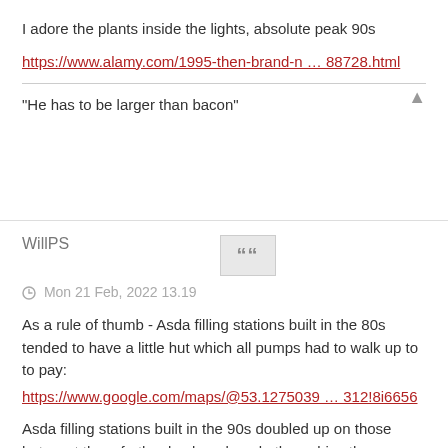I adore the plants inside the lights, absolute peak 90s
https://www.alamy.com/1995-then-brand-n … 88728.html
"He has to be larger than bacon"
WillPS
Mon 21 Feb, 2022 13.19
As a rule of thumb - Asda filling stations built in the 80s tended to have a little hut which all pumps had to walk up to to pay:
https://www.google.com/maps/@53.1275039 … 312!8i6656
Asda filling stations built in the 90s doubled up on those huts, set them further back and made them drive thrus: